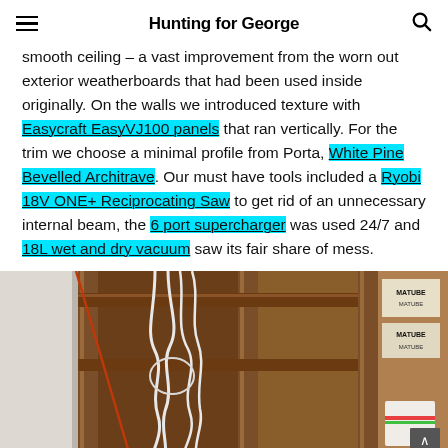Hunting for George
smooth ceiling – a vast improvement from the worn out exterior weatherboards that had been used inside originally. On the walls we introduced texture with Easycraft EasyVJ100 panels that ran vertically. For the trim we choose a minimal profile from Porta, White Pine Bevelled Architrave. Our must have tools included a Ryobi 18V ONE+ Reciprocating Saw to get rid of an unnecessary internal beam, the 6 port supercharger was used 24/7 and 18L wet and dry vacuum saw its fair share of mess.
[Figure (photo): Construction photo showing interior wall framing with exposed timber studs, hanging white electrical cables/wires, a white drywall panel on the left, and product packaging on the right side shelving.]